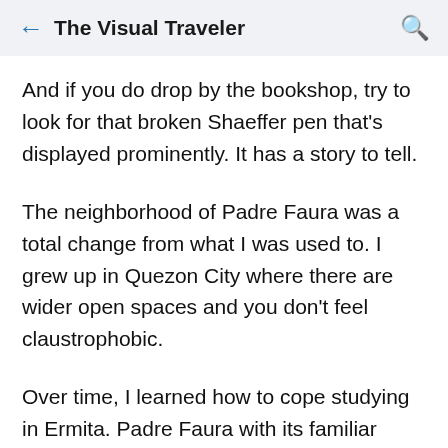The Visual Traveler
And if you do drop by the bookshop, try to look for that broken Shaeffer pen that's displayed prominently. It has a story to tell.
The neighborhood of Padre Faura was a total change from what I was used to. I grew up in Quezon City where there are wider open spaces and you don't feel claustrophobic.
Over time, I learned how to cope studying in Ermita. Padre Faura with its familiar buildings became a sanctuary of sorts for me during those halcyon days of University life. It became my turf.